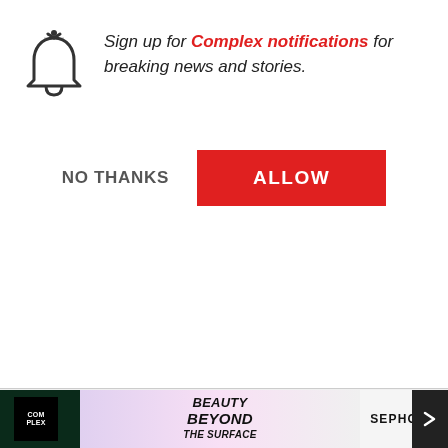[Figure (screenshot): Browser notification popup with bell icon, 'Sign up for Complex notifications for breaking news and stories.' with NO THANKS and ALLOW buttons]
purchase, punctua...
Entertainment sit...
November that the...
made $2 million to...
investment, since...
Akon
[Figure (screenshot): Video overlay card showing two Korean men with Nutella and Pepero products on yellow background, with caption 'The Cast of Money Heist KoreaBreak Down TheirFavorite Snacks| Snacked']
[Figure (advertisement): Bottom ad bar: Complex logo, Beauty Beyond The Surface text, Sephora branding]